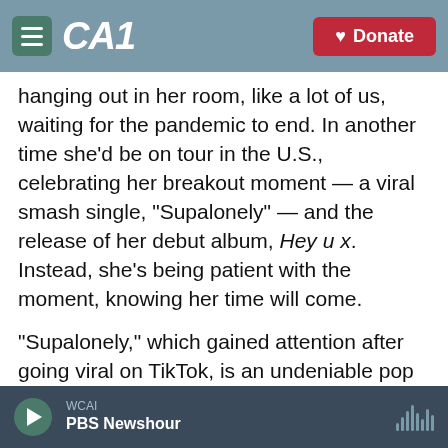CAI | Donate
hanging out in her room, like a lot of us, waiting for the pandemic to end. In another time she'd be on tour in the U.S., celebrating her breakout moment — a viral smash single, "Supalonely" — and the release of her debut album, Hey u x. Instead, she's being patient with the moment, knowing her time will come.
"Supalonely," which gained attention after going viral on TikTok, is an undeniable pop gem, and it's one a few hits BENEE's had in her home country. The album, Hey u x, features appearances from Lily Allen and Grimes, and pulls from influences like
WCAI | PBS Newshour